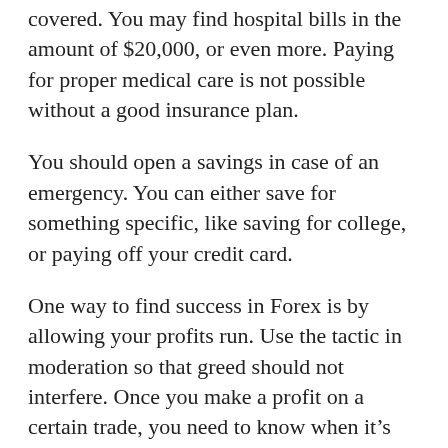covered. You may find hospital bills in the amount of $20,000, or even more. Paying for proper medical care is not possible without a good insurance plan.
You should open a savings in case of an emergency. You can either save for something specific, like saving for college, or paying off your credit card.
One way to find success in Forex is by allowing your profits run. Use the tactic in moderation so that greed should not interfere. Once you make a profit on a certain trade, you need to know when it’s best to remove the money.
Even if you’re careful with money, a budgeting crisis still can occur. It is a good idea to become familiar with the late fee is and extension period allowed.
If you’re having trouble paying the minimum on your credit card, stop using it. Downsize your spending